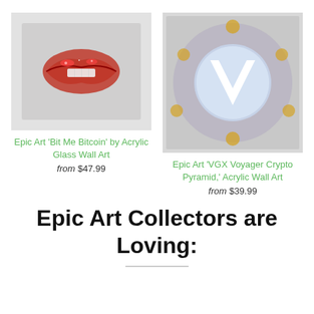[Figure (photo): Acrylic glass wall art showing red glittery lips on a gray background]
Epic Art 'Bit Me Bitcoin' by Acrylic Glass Wall Art
from $47.99
[Figure (photo): Acrylic wall art showing VGX Voyager crypto pyramid with a large white V logo on a colorful mandala background]
Epic Art 'VGX Voyager Crypto Pyramid,' Acrylic Wall Art
from $39.99
Epic Art Collectors are Loving: